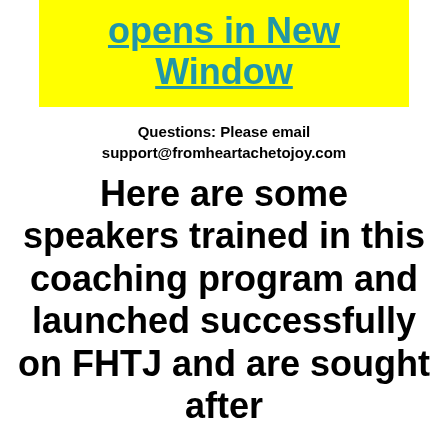[Figure (other): Yellow banner with teal underlined bold text reading 'opens in New Window']
Questions: Please email support@fromheartachetojoy.com
Here are some speakers trained in this coaching program and launched successfully on FHTJ and are sought after